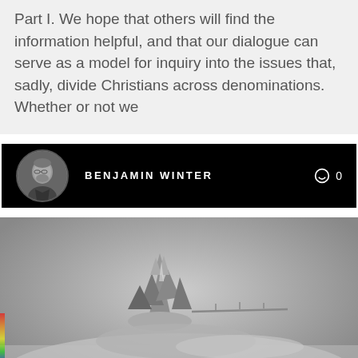Part I. We hope that others will find the information helpful, and that our dialogue can serve as a model for inquiry into the issues that, sadly, divide Christians across denominations. Whether or not we
BENJAMIN WINTER  0
[Figure (photo): Black and white close-up photograph of a metallic ferrofluid spike structure resting on a reflective metallic surface, with a rainbow spectrum visible at the left edge.]